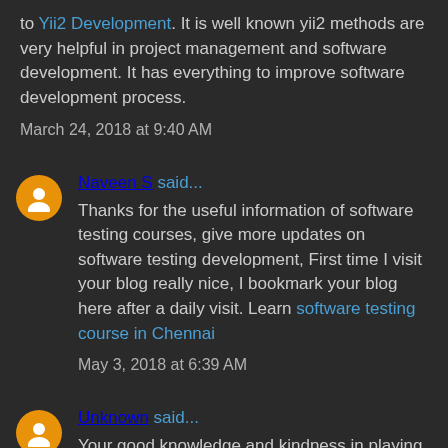to Yii2 Development. It is well known yii2 methods are very helpful in project management and software development. It has everything to improve software development process.
March 24, 2018 at 9:40 AM
Naveen S said...
Thanks for the useful information of software testing courses, give more updates on software testing development, First time I visit your blog really nice, I bookmark your blog here after a daily visit. Learn software testing course in Chennai
May 3, 2018 at 6:39 AM
Unknown said...
Your good knowledge and kindness in playing with all the pieces were very useful. I don't know what I would have